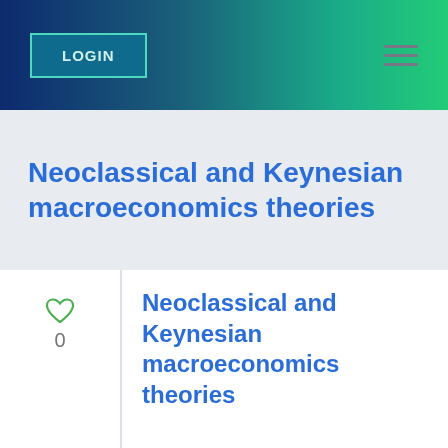LOGIN
Neoclassical and Keynesian macroeconomics theories
Neoclassical and Keynesian macroeconomics theories
Published by James Taylor